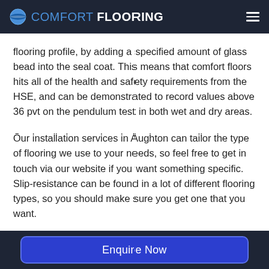COMFORT FLOORING
flooring profile, by adding a specified amount of glass bead into the seal coat. This means that comfort floors hits all of the health and safety requirements from the HSE, and can be demonstrated to record values above 36 pvt on the pendulum test in both wet and dry areas.
Our installation services in Aughton can tailor the type of flooring we use to your needs, so feel free to get in touch via our website if you want something specific. Slip-resistance can be found in a lot of different flooring types, so you should make sure you get one that you want.
Enquire Now